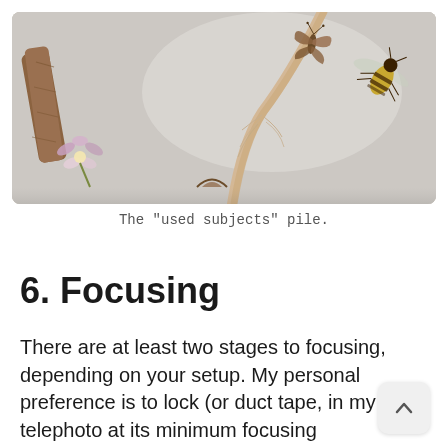[Figure (photo): Close-up photograph on a light grey/white background showing dried natural specimens: a brown twig on the left, a long curved dried plant stem in the centre, a small dried butterfly/moth in the upper middle, a bee or wasp on the right side, a small purple and white flower on the lower left, and another partial specimen at the bottom centre. These are 'used subjects' arranged loosely on a flat surface.]
The "used subjects" pile.
6. Focusing
There are at least two stages to focusing, depending on your setup. My personal preference is to lock (or duct tape, in my the telephoto at its minimum focusing